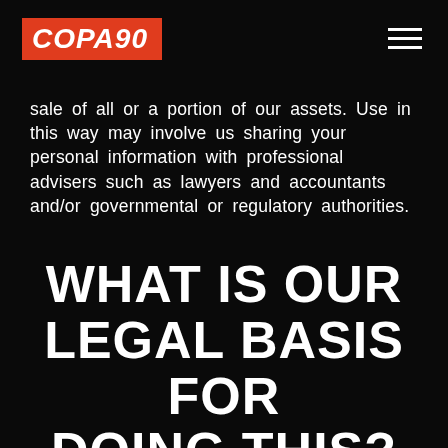COPA90
sale of all or a portion of our assets. Use in this way may involve us sharing your personal information with professional advisers such as lawyers and accountants and/or governmental or regulatory authorities.
WHAT IS OUR LEGAL BASIS FOR DOING THIS?